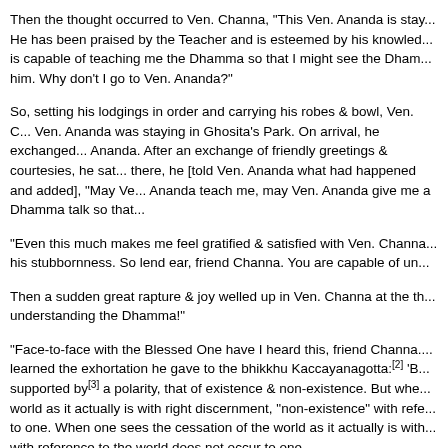Then the thought occurred to Ven. Channa, "This Ven. Ananda is staying... He has been praised by the Teacher and is esteemed by his knowledge... is capable of teaching me the Dhamma so that I might see the Dham... him. Why don't I go to Ven. Ananda?"
So, setting his lodgings in order and carrying his robes & bowl, Ven. C... Ven. Ananda was staying in Ghosita's Park. On arrival, he exchanged... Ananda. After an exchange of friendly greetings & courtesies, he sat... there, he [told Ven. Ananda what had happened and added], "May Ve... Ananda teach me, may Ven. Ananda give me a Dhamma talk so that...
"Even this much makes me feel gratified & satisfied with Ven. Channa... his stubbornness. So lend ear, friend Channa. You are capable of un...
Then a sudden great rapture & joy welled up in Ven. Channa at the th... understanding the Dhamma!"
"Face-to-face with the Blessed One have I heard this, friend Channa.... learned the exhortation he gave to the bhikkhu Kaccayanagotta:[2] 'B... supported by[3] a polarity, that of existence & non-existence. But whe... world as it actually is with right discernment, "non-existence" with refe... to one. When one sees the cessation of the world as it actually is with... with reference to the world does not occur to one.